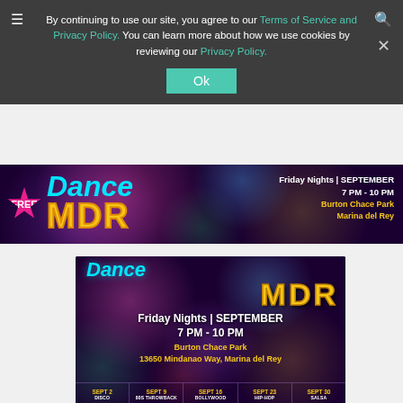By continuing to use our site, you agree to our Terms of Service and Privacy Policy. You can learn more about how we use cookies by reviewing our Privacy Policy.
[Figure (infographic): Dance MDR banner with FREE starburst badge, Dance MDR logo in cyan and yellow, event details: Friday Nights | SEPTEMBER 7 PM - 10 PM, Burton Chace Park, Marina del Rey]
[Figure (infographic): Dance MDR event poster with bokeh background, Dance MDR logo, Friday Nights | SEPTEMBER 7 PM - 10 PM, Burton Chace Park, 13650 Mindanao Way Marina del Rey, date schedule: Sept 2 Disco, Sept 9 80s Throwback, Sept 16 Bollywood, Sept 23 Hip-Hop, Sept 30 Salsa]